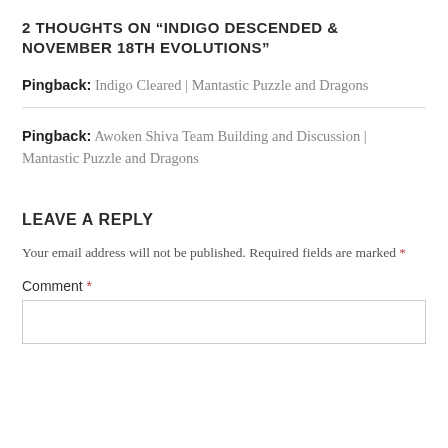2 THOUGHTS ON “INDIGO DESCENDED & NOVEMBER 18TH EVOLUTIONS”
Pingback: Indigo Cleared | Mantastic Puzzle and Dragons
Pingback: Awoken Shiva Team Building and Discussion | Mantastic Puzzle and Dragons
LEAVE A REPLY
Your email address will not be published. Required fields are marked *
Comment *